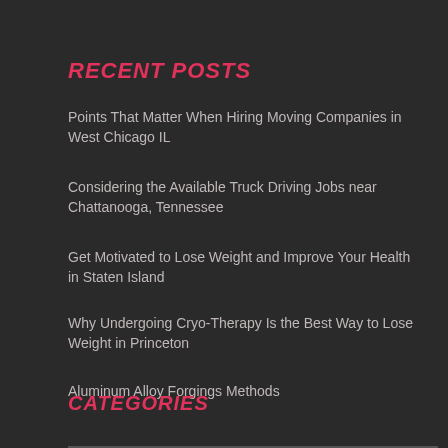RECENT POSTS
Points That Matter When Hiring Moving Companies in West Chicago IL
Considering the Available Truck Driving Jobs near Chattanooga, Tennessee
Get Motivated to Lose Weight and Improve Your Health in Staten Island
Why Undergoing Cryo-Therapy Is the Best Way to Lose Weight in Princeton
Aluminum Alloy Forgings Methods
CATEGORIES